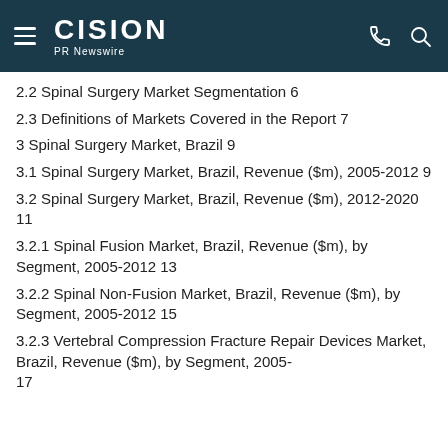CISION PR Newswire
2.2 Spinal Surgery Market Segmentation 6
2.3 Definitions of Markets Covered in the Report 7
3 Spinal Surgery Market, Brazil 9
3.1 Spinal Surgery Market, Brazil, Revenue ($m), 2005-2012 9
3.2 Spinal Surgery Market, Brazil, Revenue ($m), 2012-2020 11
3.2.1 Spinal Fusion Market, Brazil, Revenue ($m), by Segment, 2005-2012 13
3.2.2 Spinal Non-Fusion Market, Brazil, Revenue ($m), by Segment, 2005-2012 15
3.2.3 Vertebral Compression Fracture Repair Devices Market, Brazil, Revenue ($m), by Segment, 2005- 17